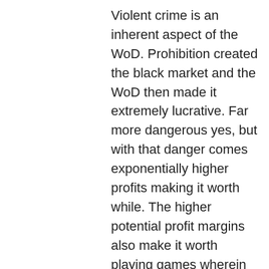Violent crime is an inherent aspect of the WoD. Prohibition created the black market and the WoD then made it extremely lucrative. Far more dangerous yes, but with that danger comes exponentially higher profits making it worth while. The higher potential profit margins also make it worth playing games wherein death, maiming and/or life in prison are considered acceptable risk. When you also consider that there are no legal protections to govern even simple business disputes, much less outright theft or fraud, disputes are often going be settled with violence.
Prohibition and the WoD have also drastically swelled our prison populations. Prisons are a major detraction to health. Communicable